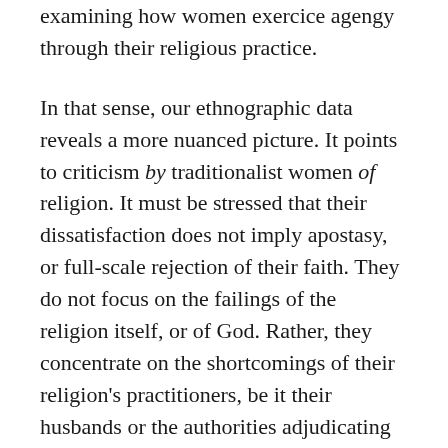...means to oppression (Amir 2013), it is worth examining how women exercice agengy through their religious practice.
In that sense, our ethnographic data reveals a more nuanced picture. It points to criticism by traditionalist women of religion. It must be stressed that their dissatisfaction does not imply apostasy, or full-scale rejection of their faith. They do not focus on the failings of the religion itself, or of God. Rather, they concentrate on the shortcomings of their religion's practitioners, be it their husbands or the authorities adjudicating their divorce procedures. As shall become apparent shortly, these women offer a critique of patriarchy, with hints of that aforementioned anti-clerical strain, which has long been part of the secular